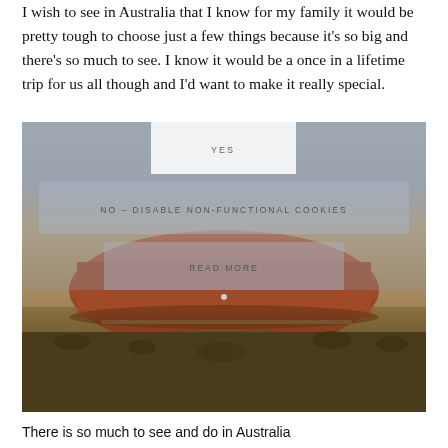I wish to see in Australia that I know for my family it would be pretty tough to choose just a few things because it’s so big and there’s so much to see. I know it would be a once in a lifetime trip for us all though and I’d want to make it really special.
[Figure (screenshot): Cookie consent overlay with YES button, NO – DISABLE NON-FUNCTIONAL COOKIES button, and READ MORE button overlaid on a landscape photo of Uluru (Ayers Rock) in Australia with red rock formation against a clear sky and sparse dry vegetation in the foreground.]
There is so much to see and do in Australia